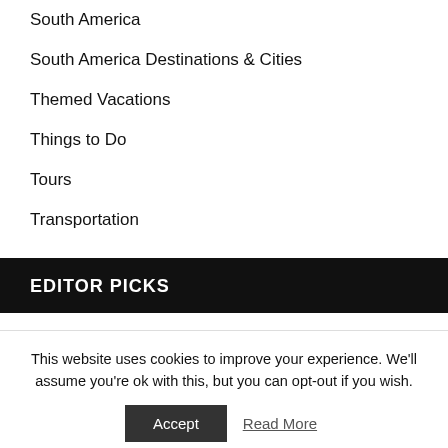South America
South America Destinations & Cities
Themed Vacations
Things to Do
Tours
Transportation
EDITOR PICKS
This website uses cookies to improve your experience. We'll assume you're ok with this, but you can opt-out if you wish.
Accept   Read More